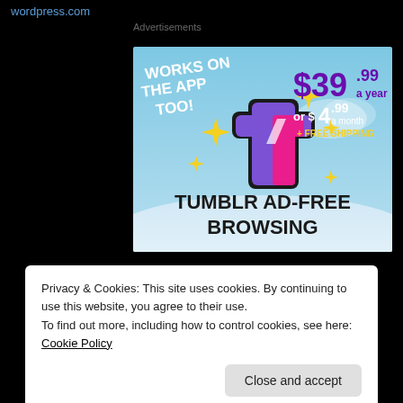wordpress.com
Advertisements
[Figure (illustration): Tumblr Ad-Free Browsing advertisement banner. Shows Tumblr logo (stylized 't' in pink/purple), sparkles/stars in yellow, blue sky background. Text: 'WORKS ON THE APP TOO!', '$39.99 a year', 'or $4.99 a month', '+ FREE SHIPPING', 'TUMBLR AD-FREE BROWSING']
Privacy & Cookies: This site uses cookies. By continuing to use this website, you agree to their use.
To find out more, including how to control cookies, see here: Cookie Policy
Close and accept